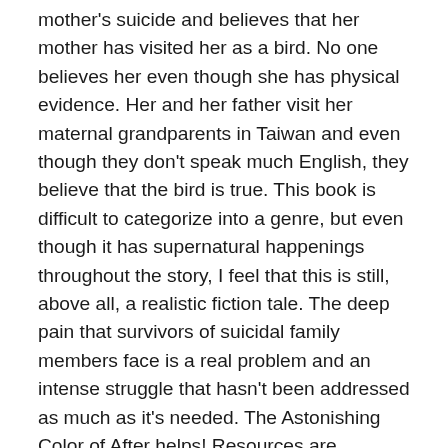mother's suicide and believes that her mother has visited her as a bird. No one believes her even though she has physical evidence. Her and her father visit her maternal grandparents in Taiwan and even though they don't speak much English, they believe that the bird is true. This book is difficult to categorize into a genre, but even though it has supernatural happenings throughout the story, I feel that this is still, above all, a realistic fiction tale. The deep pain that survivors of suicidal family members face is a real problem and an intense struggle that hasn't been addressed as much as it's needed. The Astonishing Color of After helps! Resources are included towards the end of the book for various needs of those dealing with depression, loss, suicide and/or suicidal thoughts. The resources are categorized under the following headings: Suicide Prevention, For Suicide Loss Survivors and Understanding Mental Illness. The cultural education and coping skills made the story more interesting and I love Axel and the great friend that he is to Leigh and I